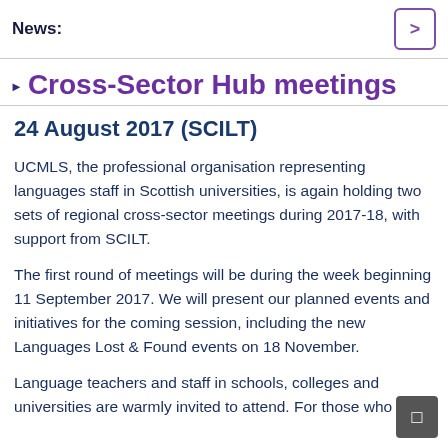News:
Cross-Sector Hub meetings
24 August 2017 (SCILT)
UCMLS, the professional organisation representing languages staff in Scottish universities, is again holding two sets of regional cross-sector meetings during 2017-18, with support from SCILT.
The first round of meetings will be during the week beginning 11 September 2017. We will present our planned events and initiatives for the coming session, including the new Languages Lost & Found events on 18 November.
Language teachers and staff in schools, colleges and universities are warmly invited to attend. For those who